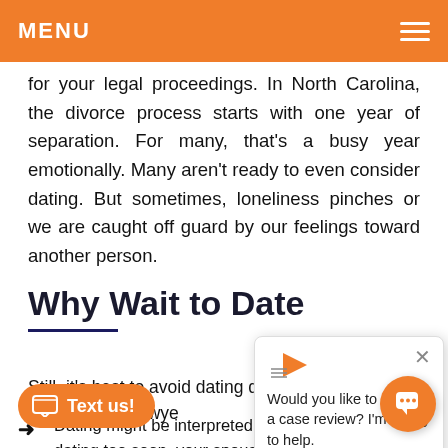MENU
for your legal proceedings. In North Carolina, the divorce process starts with one year of separation. For many, that's a busy year emotionally. Many aren't ready to even consider dating. But sometimes, loneliness pinches or we are caught off guard by our feelings toward another person.
Why Wait to Date
Still, it's best to avoid dating during... are three reasons your lawye...
Dating might be interpreted as adultery. If you begin dating too soon, your spouse's attorney may use that against you. If... that one partner has been unfaithful, h... may put the "blame" on you, which means you could pay more
[Figure (screenshot): Chat popup overlay: logo with orange play/arrow icon, close X button, text: 'Would you like to set up a case review? I'm happy to help.']
[Figure (other): Orange 'Text us!' button with chat icon, bottom left]
[Figure (other): Orange chat bubble button, bottom right]